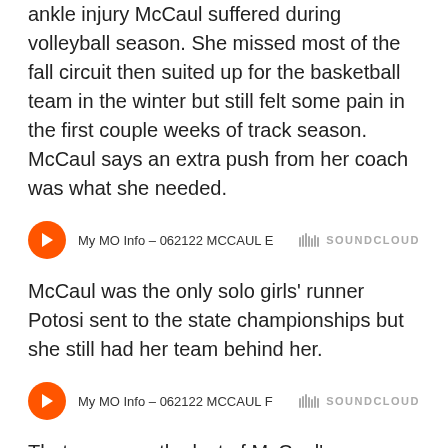ankle injury McCaul suffered during volleyball season. She missed most of the fall circuit then suited up for the basketball team in the winter but still felt some pain in the first couple weeks of track season. McCaul says an extra push from her coach was what she needed.
[Figure (other): SoundCloud audio player embed: play button and track title 'My MO Info – 062122 MCCAUL E' with SoundCloud logo]
McCaul was the only solo girls' runner Potosi sent to the state championships but she still had her team behind her.
[Figure (other): SoundCloud audio player embed: play button and track title 'My MO Info – 062122 MCCAUL F' with SoundCloud logo]
That race was the last of McCaul's career. She plans to hang up the spikes and head to Columbia and enroll in Mizzou's veterinary program.